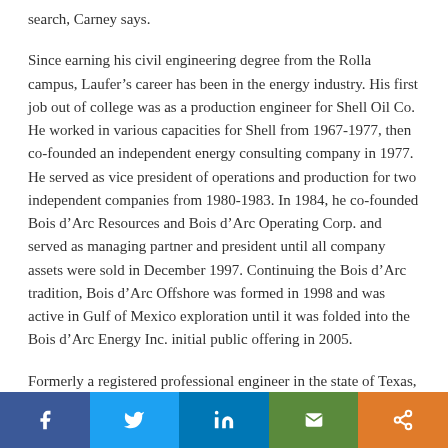search, Carney says.
Since earning his civil engineering degree from the Rolla campus, Laufer’s career has been in the energy industry. His first job out of college was as a production engineer for Shell Oil Co. He worked in various capacities for Shell from 1967-1977, then co-founded an independent energy consulting company in 1977. He served as vice president of operations and production for two independent companies from 1980-1983. In 1984, he co-founded Bois d’Arc Resources and Bois d’Arc Operating Corp. and served as managing partner and president until all company assets were sold in December 1997. Continuing the Bois d’Arc tradition, Bois d’Arc Offshore was formed in 1998 and was active in Gulf of Mexico exploration until it was folded into the Bois d’Arc Energy Inc. initial public offering in 2005.
Formerly a registered professional engineer in the state of Texas, Laufer is a member of the Society of Petroleum